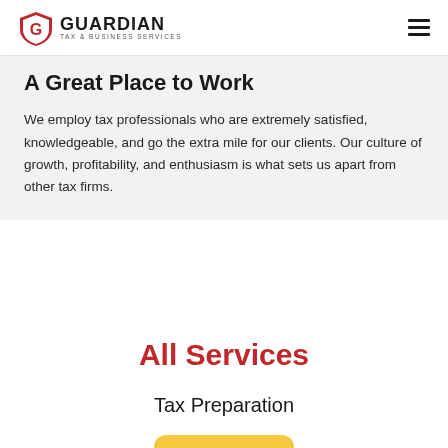GUARDIAN TAX & BUSINESS SERVICES
A Great Place to Work
We employ tax professionals who are extremely satisfied, knowledgeable, and go the extra mile for our clients. Our culture of growth, profitability, and enthusiasm is what sets us apart from other tax firms.
All Services
Tax Preparation
[Figure (illustration): Partial illustration of tax preparation related icon, showing a yellow folder/document shape with a small lock or clip icon, cropped at bottom of page]